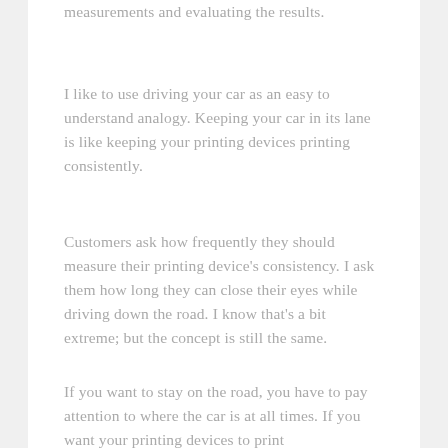measurements and evaluating the results.
I like to use driving your car as an easy to understand analogy. Keeping your car in its lane is like keeping your printing devices printing consistently.
Customers ask how frequently they should measure their printing device's consistency. I ask them how long they can close their eyes while driving down the road. I know that's a bit extreme; but the concept is still the same.
If you want to stay on the road, you have to pay attention to where the car is at all times. If you want your printing devices to print